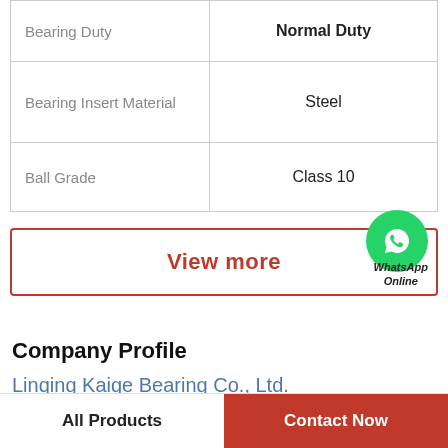| Property | Value |
| --- | --- |
| Bearing Duty | Normal Duty |
| Bearing Insert Material | Steel |
| Ball Grade | Class 10 |
[Figure (other): View more button with WhatsApp Online icon]
Company Profile
Linqing Kaige Bearing Co., Ltd.
Worktime  9:00-18:00（Beijing time）
All Products   Contact Now